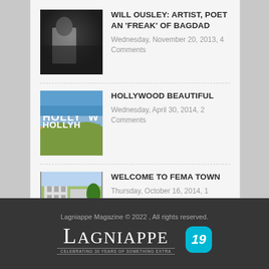WILL OUSLEY: ARTIST, POET AN 'FREAK' OF BAGDAD — Wednesday, November 20, 2013, 4 Comments
HOLLYWOOD BEAUTIFUL — Wednesday, April 30, 2014, 2 Comments
WELCOME TO FEMA TOWN — Thursday, October 16, 2014, 1 Comment
Lagniappe Magazine © 2022 , All rights reserved.